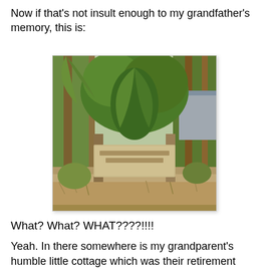Now if that's not insult enough to my grandfather's memory, this is:
[Figure (photo): Outdoor photograph showing a sign mounted between two wooden posts surrounded by dense tropical vegetation including palm trees, banana leaves, and various shrubs. The sign appears to read something about a house with a date. Background shows a metal-roofed structure partially visible through the foliage.]
What? What? WHAT????!!!!
Yeah. In there somewhere is my grandparent's humble little cottage which was their retirement home. It wasn't luxurious in any way, shape or form but it was lovely in its simplicity. There was a Chinaberry tree out front and a front porch that Granny and Granddaddy would sit on at sunset with their tiny coca-cola's wrapped in a paper towel and after the sun went